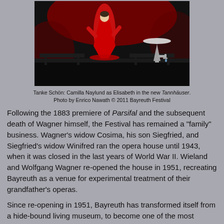[Figure (photo): A performer in a red dress on a dark stage with a pedestal table and faucet prop; dramatic red-lit opera scene from Tannhäuser.]
Tanke Schön: Camilla Naylund as Elisabeth in the new Tannhäuser. Photo by Enrico Nawath © 2011 Bayreuth Festival
Following the 1883 premiere of Parsifal and the subsequent death of Wagner himself, the Festival has remained a "family" business. Wagner's widow Cosima, his son Siegfried, and Siegfried's widow Winifred ran the opera house until 1943, when it was closed in the last years of World War II. Wieland and Wolfgang Wagner re-opened the house in 1951, recreating Bayreuth as a venue for experimental treatment of their grandfather's operas.
Since re-opening in 1951, Bayreuth has transformed itself from a hide-bound living museum, to become one of the most important venues for theatrical experimentation in staging Wagner's operas. In the 1970s, following the death of Wieland Wagner, his brother Wolfgang established